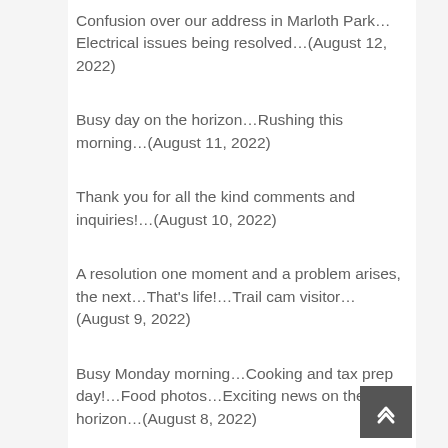Confusion over our address in Marloth Park…Electrical issues being resolved…(August 12, 2022)
Busy day on the horizon…Rushing this morning…(August 11, 2022)
Thank you for all the kind comments and inquiries!…(August 10, 2022)
A resolution one moment and a problem arises, the next…That's life!…Trail cam visitor…(August 9, 2022)
Busy Monday morning…Cooking and tax prep day!…Food photos…Exciting news on the horizon…(August 8, 2022)
A quiet Sunday in the bush…Exciting